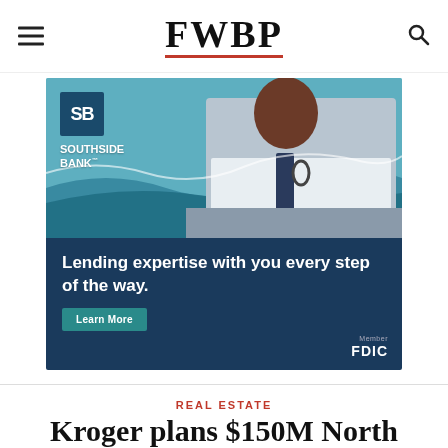FWBP
[Figure (photo): Southside Bank advertisement showing a doctor in a white coat leaning over a desk, with the text 'Lending expertise with you every step of the way.' A Learn More button and Member FDIC badge are visible.]
REAL ESTATE
Kroger plans $150M North